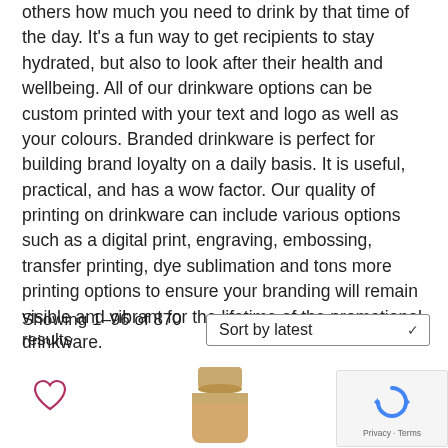others how much you need to drink by that time of the day. It's a fun way to get recipients to stay hydrated, but also to look after their health and wellbeing. All of our drinkware options can be custom printed with your text and logo as well as your colours. Branded drinkware is perfect for building brand loyalty on a daily basis. It is useful, practical, and has a wow factor. Our quality of printing on drinkware can include various options such as a digital print, engraving, embossing, transfer printing, dye sublimation and tons more printing options to ensure your branding will remain visible and vibrant for the lifetime of the promotional drinkware.
Showing 1–96 of 870 results   Sort by latest
[Figure (illustration): Heart/wishlist icon (outline heart shape in dark red/maroon)]
[Figure (photo): Product image of a water bottle/drinkware with a gold/tan wooden-style cap, partially visible at bottom of page]
[Figure (other): Google reCAPTCHA badge in bottom right corner showing the reCAPTCHA logo (blue circular arrows) with 'Privacy · Terms' text]